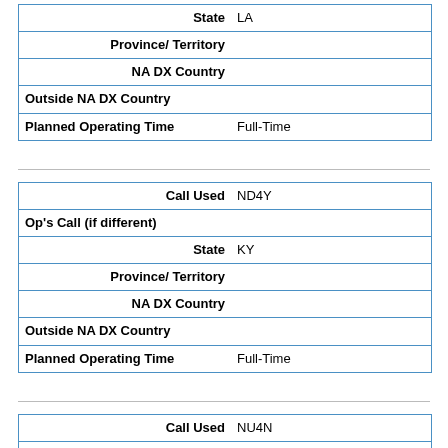| State | LA |
| Province/ Territory |  |
| NA DX Country |  |
| Outside NA DX Country |  |
| Planned Operating Time | Full-Time |
| Call Used | ND4Y |
| Op's Call (if different) |  |
| State | KY |
| Province/ Territory |  |
| NA DX Country |  |
| Outside NA DX Country |  |
| Planned Operating Time | Full-Time |
| Call Used | NU4N |
| Op's Call (if different) |  |
| State | KY |
| Province/ Territory |  |
| NA DX Country |  |
| Outside NA DX Country |  |